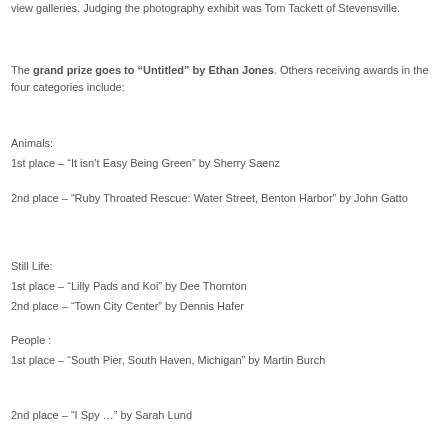view galleries. Judging the photography exhibit was Tom Tackett of Stevensville.
The grand prize goes to “Untitled” by Ethan Jones. Others receiving awards in the four categories include:
Animals:
1st place – “It isn’t Easy Being Green” by Sherry Saenz
2nd place – “Ruby Throated Rescue: Water Street, Benton Harbor” by John Gatto
Still Life:
1st place – “Lilly Pads and Koi” by Dee Thornton
2nd place – “Town City Center” by Dennis Hafer
People :
1st place – “South Pier, South Haven, Michigan” by Martin Burch
2nd place – “I Spy …” by Sarah Lund